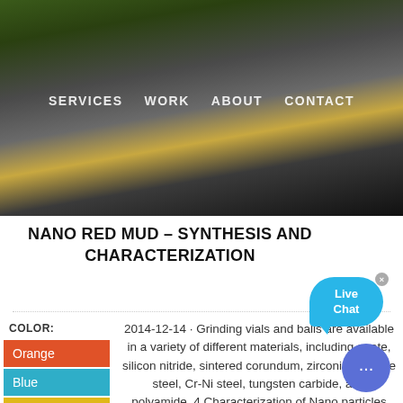[Figure (photo): Photograph of industrial/agricultural machinery with green structure and a tank, seen from below against a bright sky.]
SERVICES   WORK   ABOUT   CONTACT
NANO RED MUD – SYNTHESIS AND CHARACTERIZATION
Orange
Blue
Yellow
2014-12-14 · Grinding vials and balls are available in a variety of different materials, including agate, silicon nitride, sintered corundum, zirconia, chrome steel, Cr-Ni steel, tungsten carbide, and polyamide. 4 Characterization of Nano particles The powders obtained after mechanical attrition must be